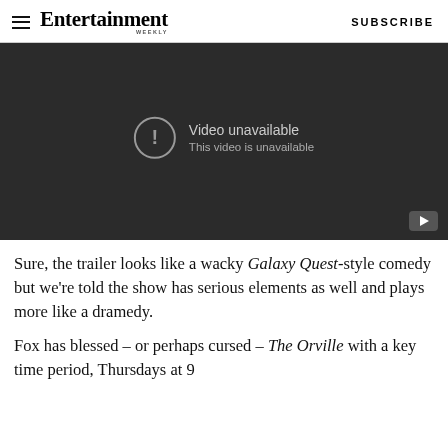Entertainment Weekly — SUBSCRIBE
[Figure (screenshot): Embedded video player showing 'Video unavailable — This video is unavailable' message with a YouTube play button icon in the bottom-right corner, on a dark background.]
Sure, the trailer looks like a wacky Galaxy Quest-style comedy but we're told the show has serious elements as well and plays more like a dramedy.
Fox has blessed – or perhaps cursed – The Orville with a key time period, Thursdays at 9